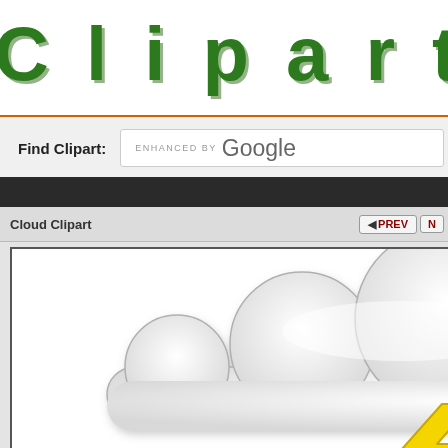ClipartPal
Find Clipart: ENHANCED BY Google
Cloud Clipart
◄ PREV  N
[Figure (illustration): Cloud clipart illustration — a large gray-white cloud shape with rounded bumps on top, and a yellow lightning bolt below it on a white background with a thin black border]
Clipart o
DO
Full ima